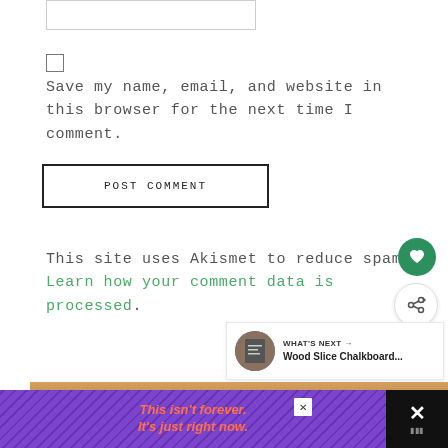[Figure (screenshot): Partial text input box at the top of a comment form]
[Figure (screenshot): Checkbox (unchecked) for saving name/email/website]
Save my name, email, and website in this browser for the next time I comment.
[Figure (screenshot): POST COMMENT button with black border]
This site uses Akismet to reduce spam. Learn how your comment data is processed.
[Figure (screenshot): Green heart/like button (circle) and share button (circle with share icon)]
[Figure (screenshot): What's Next panel showing Wood Slice Chalkboard... with thumbnail]
[Figure (photo): Partial image visible at bottom of page]
[Figure (screenshot): Advertisement banner: purple background with diagonal lines, orange italic text 'This isn't forever. It's just right now.' with close button and dark right panel]